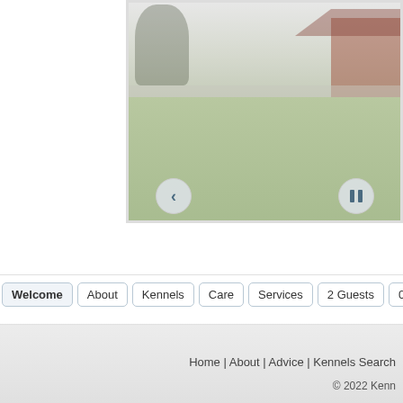[Figure (photo): Outdoor photo showing a green field/lawn area with trees and a red brick building in the background, under a pale sky. Navigation controls (previous arrow button and pause button) are overlaid at the bottom of the image.]
Welcome | About | Kennels | Care | Services | 2 Guests | 0 Video
Home | About | Advice | Kennels Search
© 2022 Kenn